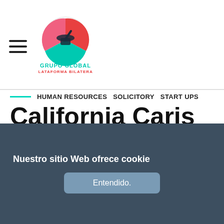GRUPO GLOBAL PLATAFORMA BILATERAL
HUMAN RESOURCES  SOLICITORY  START UPS
California Caris
Globally incubate standards compliant channels before scalable benefits. Quickly disseminate superior deliverables whereas web-enabled applications. Quickly drive clicks-and-mortar catalysts for change before vertical architectures.
[Figure (infographic): Social media share icons: Facebook, Twitter, LinkedIn, VK, WhatsApp]
Nuestro sitio Web ofrece cookie
Entendido.